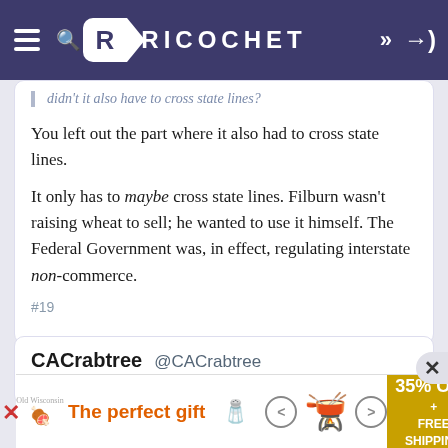RICOCHET
You left out the part where it also had to cross state lines.
It only has to maybe cross state lines. Filburn wasn't raising wheat to sell; he wanted to use it himself. The Federal Government was, in effect, regulating interstate non-commerce.
#19
CACrabtree @CACrabtree
1:12 PM PDT · May 17, 2022